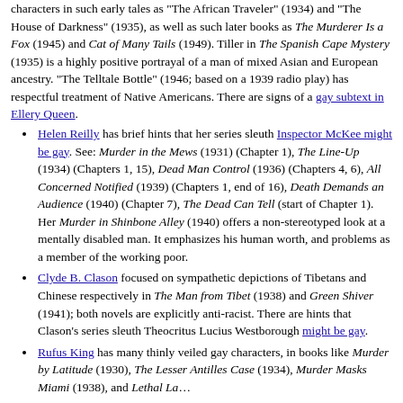characters in such early tales as "The African Traveler" (1934) and "The House of Darkness" (1935), as well as such later books as The Murderer Is a Fox (1945) and Cat of Many Tails (1949). Tiller in The Spanish Cape Mystery (1935) is a highly positive portrayal of a man of mixed Asian and European ancestry. "The Telltale Bottle" (1946; based on a 1939 radio play) has respectful treatment of Native Americans. There are signs of a gay subtext in Ellery Queen.
Helen Reilly has brief hints that her series sleuth Inspector McKee might be gay. See: Murder in the Mews (1931) (Chapter 1), The Line-Up (1934) (Chapters 1, 15), Dead Man Control (1936) (Chapters 4, 6), All Concerned Notified (1939) (Chapters 1, end of 16), Death Demands an Audience (1940) (Chapter 7), The Dead Can Tell (start of Chapter 1). Her Murder in Shinbone Alley (1940) offers a non-stereotyped look at a mentally disabled man. It emphasizes his human worth, and problems as a member of the working poor.
Clyde B. Clason focused on sympathetic depictions of Tibetans and Chinese respectively in The Man from Tibet (1938) and Green Shiver (1941); both novels are explicitly anti-racist. There are hints that Clason's series sleuth Theocritus Lucius Westborough might be gay.
Rufus King has many thinly veiled gay characters, in books like Murder by Latitude (1930), The Lesser Antilles Case (1934), Murder Masks Miami (1938), and Lethal La...